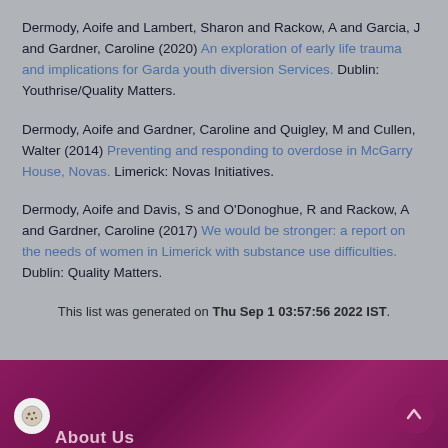Dermody, Aoife and Lambert, Sharon and Rackow, A and Garcia, J and Gardner, Caroline (2020) An exploration of early life trauma and implications for Garda youth diversion Services. Dublin: Youthrise/Quality Matters.
Dermody, Aoife and Gardner, Caroline and Quigley, M and Cullen, Walter (2014) Preventing and responding to overdose in McGarry House, Novas. Limerick: Novas Initiatives.
Dermody, Aoife and Davis, S and O'Donoghue, R and Rackow, A and Gardner, Caroline (2017) We would be stronger: a report on the needs of women in Limerick with substance use difficulties. Dublin: Quality Matters.
This list was generated on Thu Sep 1 03:57:56 2022 IST.
[Figure (other): Dark magenta/purple footer bar with a cookie icon circle on the left, an up-arrow circle button on the right, and partial 'About Us' text visible at the bottom.]